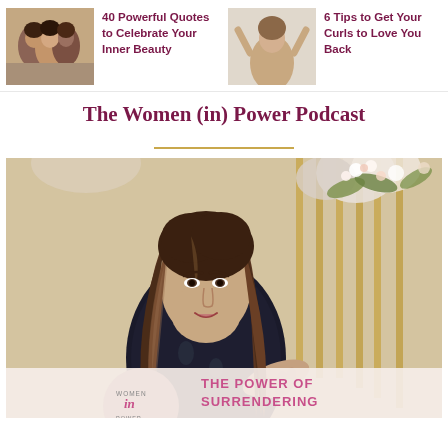[Figure (photo): Thumbnail image of group of women smiling together]
40 Powerful Quotes to Celebrate Your Inner Beauty
[Figure (photo): Thumbnail image of woman with arms raised behind her head]
6 Tips to Get Your Curls to Love You Back
The Women (in) Power Podcast
[Figure (photo): Woman with long wavy brown hair speaking, wearing a dark floral top, seated in front of floral and gold pole decorations. Overlay at bottom shows Women in Power podcast logo and text THE POWER OF SURRENDERING]